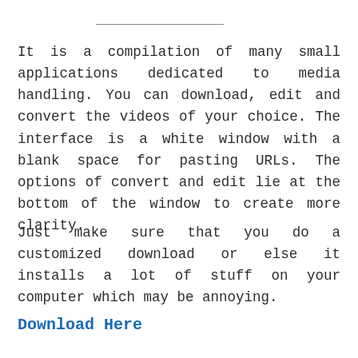It is a compilation of many small applications dedicated to media handling. You can download, edit and convert the videos of your choice. The interface is a white window with a blank space for pasting URLs. The options of convert and edit lie at the bottom of the window to create more clarity.
Just make sure that you do a customized download or else it installs a lot of stuff on your computer which may be annoying.
Download Here